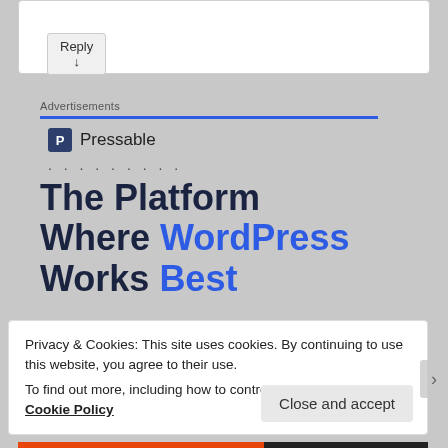Reply ↓
Advertisements
[Figure (logo): Pressable logo with 'P' icon and text 'Pressable' followed by dots]
The Platform Where WordPress Works Best
Privacy & Cookies: This site uses cookies. By continuing to use this website, you agree to their use.
To find out more, including how to control cookies, see here: Cookie Policy
Close and accept